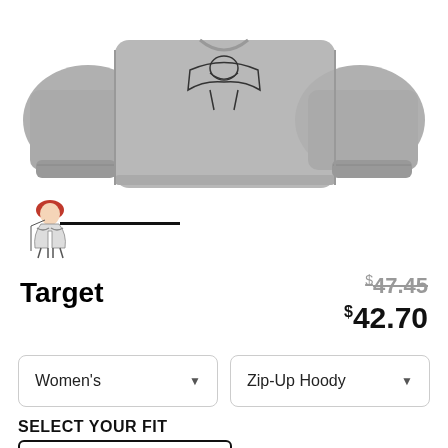[Figure (photo): Gray sweatshirt/hoodie product photo showing front and back views]
[Figure (photo): Small thumbnail of character illustration with red hair on a sweatshirt]
Target
$47.45 $42.70
Women's (dropdown) Zip-Up Hoody (dropdown)
SELECT YOUR FIT